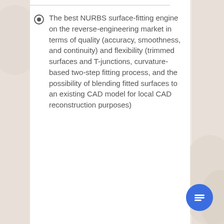The best NURBS surface-fitting engine on the reverse-engineering market in terms of quality (accuracy, smoothness, and continuity) and flexibility (trimmed surfaces and T-junctions, curvature-based two-step fitting process, and the possibility of blending fitted surfaces to an existing CAD model for local CAD reconstruction purposes)